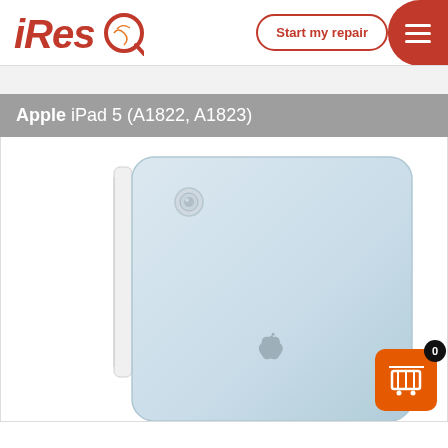iResQ | Start my repair
Apple iPad 5 (A1822, A1823)
[Figure (photo): Photo of an Apple iPad 5 shown from the back at a slight angle, silver/white color with Apple logo visible, on white background]